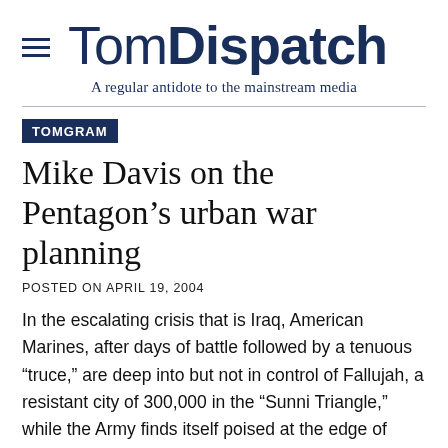TomDispatch
A regular antidote to the mainstream media
TOMGRAM
Mike Davis on the Pentagon's urban war planning
POSTED ON APRIL 19, 2004
In the escalating crisis that is Iraq, American Marines, after days of battle followed by a tenuous “truce,” are deep into but not in control of Fallujah, a resistant city of 300,000 in the “Sunni Triangle,” while the Army finds itself poised at the edge of Iraq’s Shiite holy cities. Our